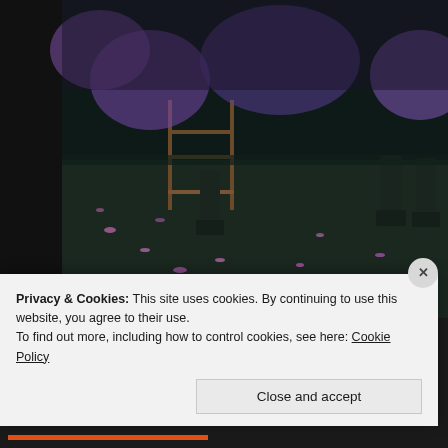[Figure (photo): Photograph showing people in boots standing on dark ground with pink/purple flower petals scattered around, with a wooden chair visible. Part of Richard Mosse's The Enclave exhibition using Kodak aerochrome infrared film.]
Richard Mosse, The Enclave, 2012 @ the Pavilion of Ireland, Venice Bie…
One of this year's Biennale favorites of The Futurelab is this stunning exh… videos captured with kodak aerochrome infrared color film, an outdated t… military surveillance. aerochrome film is intended to clearly denote the po… camouflage by turning everything in a landscape that contains chlorophy…
Privacy & Cookies: This site uses cookies. By continuing to use this website, you agree to their use.
To find out more, including how to control cookies, see here: Cookie Policy
Close and accept